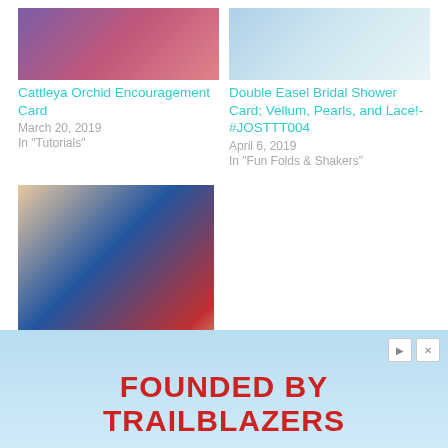[Figure (photo): Thumbnail image of Cattleya Orchid Encouragement Card with purple and pink tones]
[Figure (photo): Thumbnail image of Double Easel Bridal Shower Card with light blue and white tones]
Cattleya Orchid Encouragement Card
March 20, 2019
In "Tutorials"
Double Easel Bridal Shower Card; Vellum, Pearls, and Lace!-#JOSTTT004
April 6, 2019
In "Fun Folds & Shakers"
[Figure (photo): Thumbnail image of Pop Out Z-fold Card Lovely and Lasting Funfold with blue diamond pattern and red card]
Pop Out Z-fold Card Lovely and Lasting Funfold
August 11, 2022
In "Cards"
[Figure (photo): Advertisement banner with light blue background showing text FOUNDED BY TRAILBLAZERS]